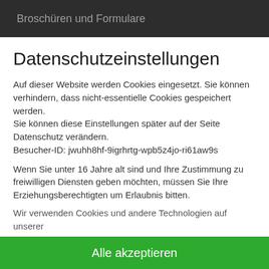Broschüren und Formulare
Datenschutzeinstellungen
Auf dieser Website werden Cookies eingesetzt. Sie können verhindern, dass nicht-essentielle Cookies gespeichert werden.
Sie können diese Einstellungen später auf der Seite Datenschutz verändern.
Besucher-ID: jwuhh8hf-9igrhrtg-wpb5z4jo-ri61aw9s
Wenn Sie unter 16 Jahre alt sind und Ihre Zustimmung zu freiwilligen Diensten geben möchten, müssen Sie Ihre Erziehungsberechtigten um Erlaubnis bitten.
Wir verwenden Cookies und andere Technologien auf unserer
Essenziell
Marketing
Externe Medien
Alle akzeptieren